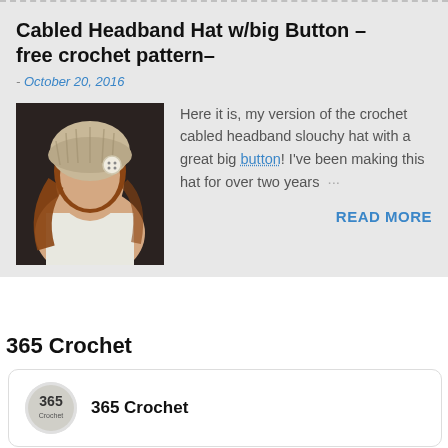Cabled Headband Hat w/big Button - free crochet pattern-
- October 20, 2016
[Figure (photo): Woman wearing a cabled crochet slouchy headband hat with a large button, photographed from the side.]
Here it is, my version of the crochet cabled headband slouchy hat with a great big button! I've been making this hat for over two years …
READ MORE
365 Crochet
[Figure (logo): 365 Crochet circular logo icon]
365 Crochet